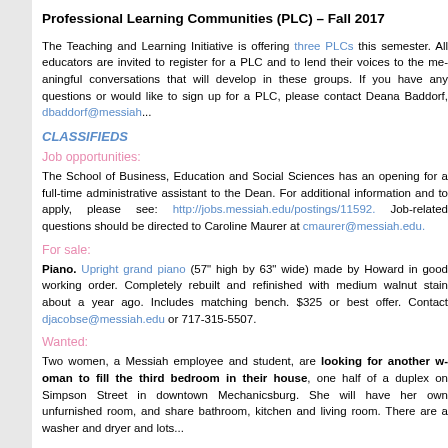Professional Learning Communities (PLC) – Fall 2017
The Teaching and Learning Initiative is offering three PLCs this semester. All educators are invited to register for a PLC and to lend their voices to the meaningful conversations that will develop in these groups. If you have any questions or would like to sign up for a PLC, please contact Deana Baddorf, dbaddorf@messiah...
CLASSIFIEDS
Job opportunities:
The School of Business, Education and Social Sciences has an opening for a full-time administrative assistant to the Dean. For additional information and to apply, please see: http://jobs.messiah.edu/postings/11592. Job-related questions should be directed to Caroline Maurer at cmaurer@messiah.edu.
For sale:
Piano. Upright grand piano (57" high by 63" wide) made by Howard in good working order. Completely rebuilt and refinished with medium walnut stain about a year ago. Includes matching bench. $325 or best offer. Contact djacobse@messiah.edu or 717-315-5507.
Wanted:
Two women, a Messiah employee and student, are looking for another woman to fill the third bedroom in their house, one half of a duplex on Simpson Street in downtown Mechanicsburg. She will have her own unfurnished room, and share bathroom, kitchen and living room. There are a washer and dryer and lots...